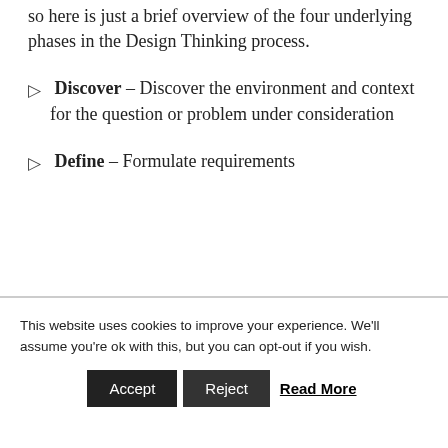so here is just a brief overview of the four underlying phases in the Design Thinking process.
▷  Discover – Discover the environment and context for the question or problem under consideration
▷  Define – Formulate requirements
This website uses cookies to improve your experience. We'll assume you're ok with this, but you can opt-out if you wish.
Accept  Reject  Read More